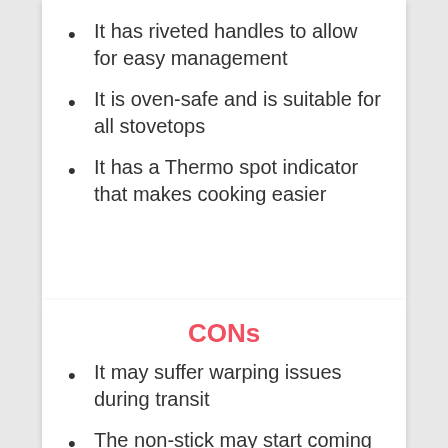It has riveted handles to allow for easy management
It is oven-safe and is suitable for all stovetops
It has a Thermo spot indicator that makes cooking easier
CONs
It may suffer warping issues during transit
The non-stick may start coming off after a year of constant use
It has a lightweight metal build